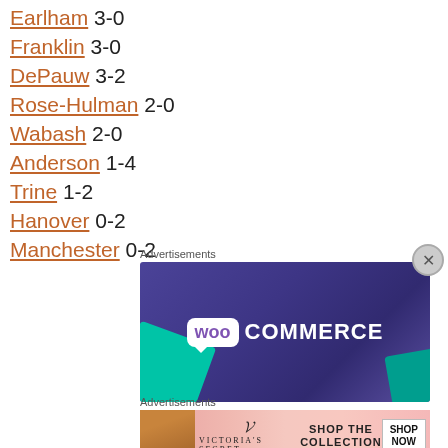Earlham 3-0
Franklin 3-0
DePauw 3-2
Rose-Hulman 2-0
Wabash 2-0
Anderson 1-4
Trine 1-2
Hanover 0-2
Manchester 0-2
Advertisements
[Figure (advertisement): WooCommerce advertisement banner with purple background and teal accent]
Advertisements
[Figure (advertisement): Victoria's Secret advertisement banner with pink background, Shop the Collection, Shop Now button]